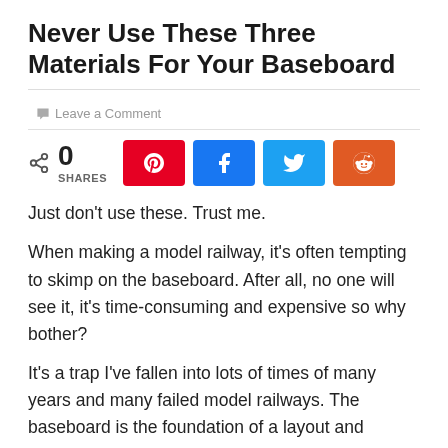Never Use These Three Materials For Your Baseboard
Leave a Comment
0 SHARES
Just don't use these. Trust me.
When making a model railway, it's often tempting to skimp on the baseboard. After all, no one will see it, it's time-consuming and expensive so why bother?
It's a trap I've fallen into lots of times of many years and many failed model railways. The baseboard is the foundation of a layout and